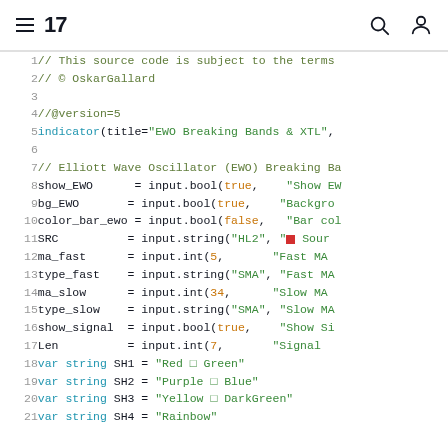TradingView navigation header with hamburger menu, logo '17', search icon, and user icon
Code editor showing Pine Script source code lines 1-21 for EWO Breaking Bands & XTL indicator